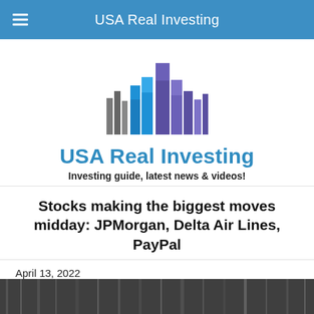USA Real Investing
[Figure (logo): USA Real Investing logo — stylized skyline of buildings in gray, blue, and purple/indigo tones]
USA Real Investing
Investing guide, latest news & videos!
Stocks making the biggest moves midday: JPMorgan, Delta Air Lines, PayPal
April 13, 2022
[Figure (photo): Dark grayscale photo of what appears to be an urban scene or industrial structure]